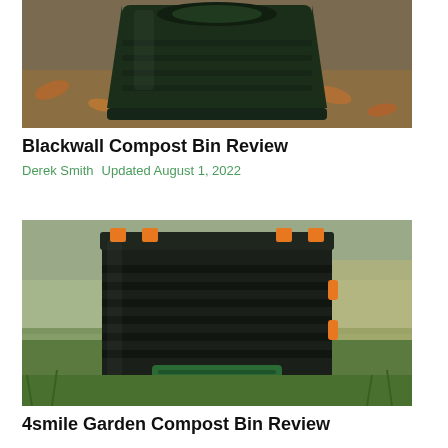[Figure (photo): Black plastic Blackwall compost bin sitting on ground covered with autumn leaves and mud]
Blackwall Compost Bin Review
Derek Smith   Updated August 1, 2022
[Figure (photo): 4smile garden compost bin, a large black rectangular plastic compost bin with orange corner clips and a green front panel, sitting on grass]
4smile Garden Compost Bin Review